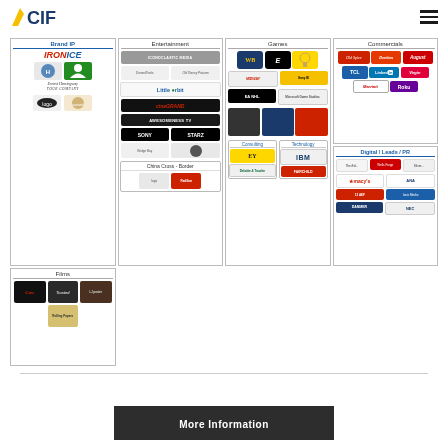CIF logo and navigation
[Figure (infographic): Grid of client logo categories: Brand IP (IRONICE, Hat Trick, Ernest Hemingway Tour Company), Commercials (Old Spice, Doritos, August, TCL, LinkedIn, Virgin, Marriott, Roku), Entertainment (Iconoclastic Media, DreamWorks, Old Disney Pictures, Little Orbit, CineGrand, Awesomeness TV, Sony, Starz, Bridge Bay, others), Games (WB, E, Midway, Sony Interactive Entertainment, EA NHL, Microsoft Game Studios, game covers), Digital/Leads/PR (Macy's, ANA, Ionic Media, Danmer, NEC), Films (film posters: Gaw, Trusted, Rolling Papers, others), China Cross-Border (logos), Consulting (EY, Deloitte & Touche), Technology (IBM, Fairchild)]
More Information